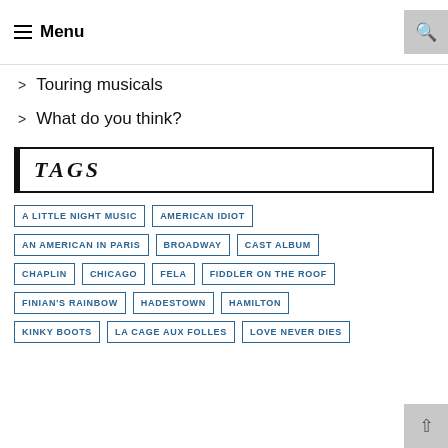Menu
Touring musicals
What do you think?
TAGS
A LITTLE NIGHT MUSIC
AMERICAN IDIOT
AN AMERICAN IN PARIS
BROADWAY
CAST ALBUM
CHAPLIN
CHICAGO
FELA
FIDDLER ON THE ROOF
FINIAN'S RAINBOW
HADESTOWN
HAMILTON
KINKY BOOTS
LA CAGE AUX FOLLES
LOVE NEVER DIES